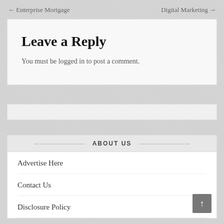← Enterprise Mortgage    Digital Marketing →
Leave a Reply
You must be logged in to post a comment.
ABOUT US
Advertise Here
Contact Us
Disclosure Policy